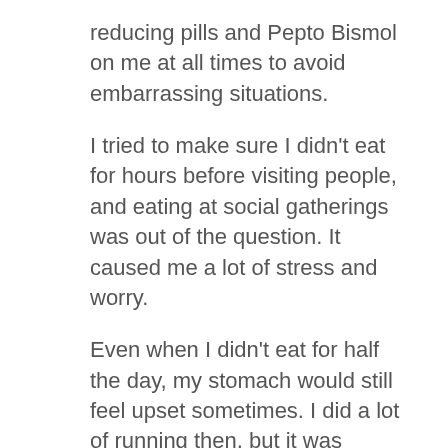reducing pills and Pepto Bismol on me at all times to avoid embarrassing situations.
I tried to make sure I didn't eat for hours before visiting people, and eating at social gatherings was out of the question. It caused me a lot of stress and worry.
Even when I didn't eat for half the day, my stomach would still feel upset sometimes. I did a lot of running then, but it was difficult because the jarring movement would give me horrible stomach pains most of the time.
From January 2010 onward I struggled with digestive problems on a daily basis. The worst thing you can do is to tell yourself that its normal to have daily digestive issues. It isn't normal. Normal digestion does not cause excessive